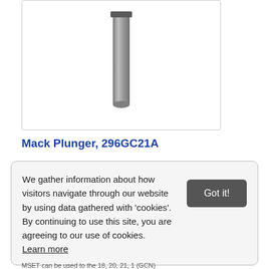[Figure (photo): A cylindrical metal plunger part, gray/silver in color, shown vertically oriented against a white background.]
Mack Plunger, 296GC21A
We gather information about how visitors navigate through our website by using data gathered with 'cookies'. By continuing to use this site, you are agreeing to our use of cookies.
Learn more
Got it!
MSET can be used to the 18, 20, 21, 1 (GCN)